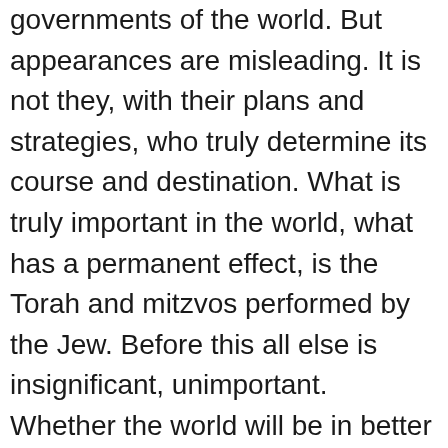governments of the world. But appearances are misleading. It is not they, with their plans and strategies, who truly determine its course and destination. What is truly important in the world, what has a permanent effect, is the Torah and mitzvos performed by the Jew. Before this all else is insignificant, unimportant. Whether the world will be in better or worse shape is in the hands of the Jew. One mitzvah, one act of bonding with G-d, has incredible repercussions — whether we are aware of it or not.

Beyond the obvious, beneath the surface, lies much, much more. The course of the world is not